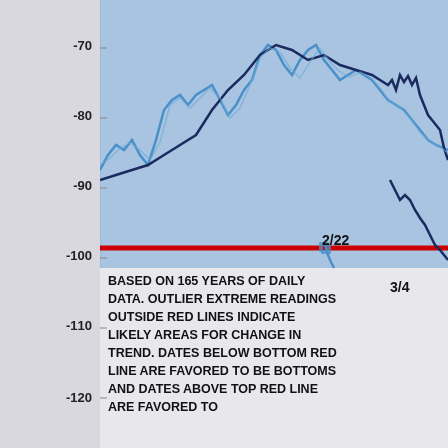[Figure (continuous-plot): A cropped line chart showing two overlapping lines (light blue and dark blue/navy) on a blue shaded background. Y-axis ranges from approximately -70 to -120+. A prominent horizontal red line is drawn at the -100 level. The chart includes date markers '2/22' and '3/4' near the bottom of the chart area. Lines represent oscillator or momentum readings based on 165 years of daily data.]
BASED ON 165 YEARS OF DAILY DATA. OUTLIER EXTREME READINGS OUTSIDE RED LINES INDICATE LIKELY AREAS FOR CHANGE IN TREND. DATES BELOW BOTTOM RED LINE ARE FAVORED TO BE BOTTOMS AND DATES ABOVE TOP RED LINE ARE FAVORED TO